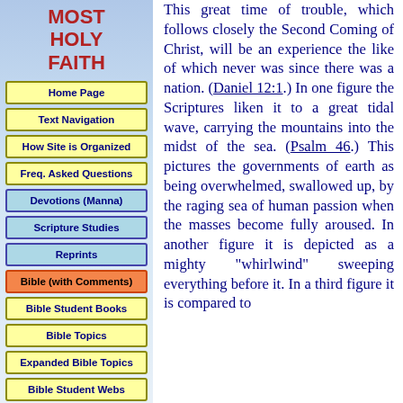MOST HOLY FAITH
Home Page
Text Navigation
How Site is Organized
Freq. Asked Questions
Devotions (Manna)
Scripture Studies
Reprints
Bible (with Comments)
Bible Student Books
Bible Topics
Expanded Bible Topics
Bible Student Webs
Miscellaneous
This great time of trouble, which follows closely the Second Coming of Christ, will be an experience the like of which never was since there was a nation. (Daniel 12:1.) In one figure the Scriptures liken it to a great tidal wave, carrying the mountains into the midst of the sea. (Psalm 46.) This pictures the governments of earth as being overwhelmed, swallowed up, by the raging sea of human passion when the masses become fully aroused. In another figure it is depicted as a mighty "whirlwind" sweeping everything before it. In a third figure it is compared to